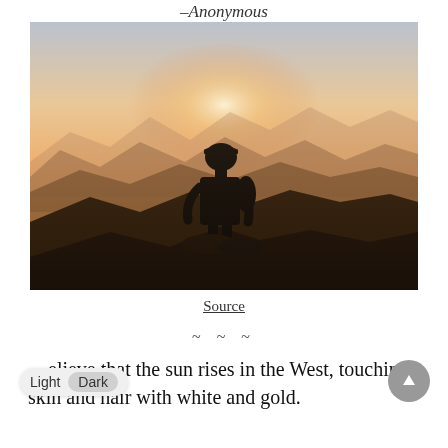–Anonymous
[Figure (photo): Silhouette of a person wearing a cap and backpack, sitting on a rocky mountain peak, facing away, with golden sunrise light illuminating layered mountain ridges in the background.]
Source
~ ~ ~
…elieve that the sun rises in the West, touching skin and hair with white and gold.